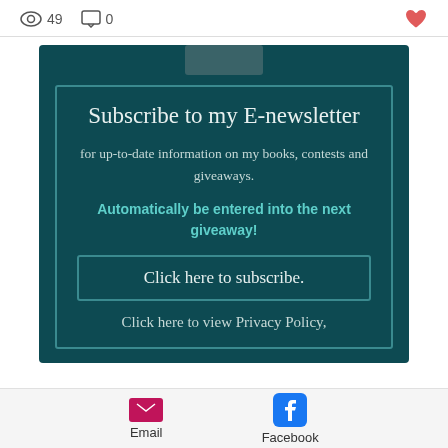49  0
[Figure (infographic): Newsletter subscription card on dark teal background with tape graphic at top, bordered box with subscribe button and privacy policy link]
Email  Facebook